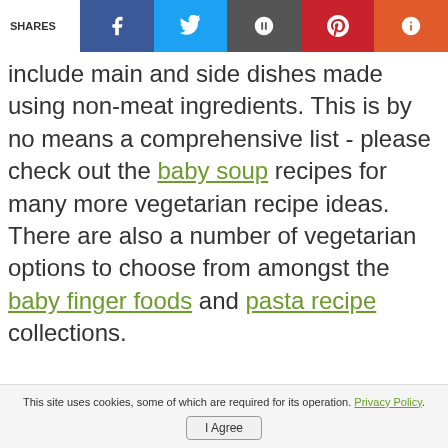SHARES [social share buttons: Facebook, Twitter, Google+, Pinterest, Other]
include main and side dishes made using non-meat ingredients. This is by no means a comprehensive list - please check out the baby soup recipes for many more vegetarian recipe ideas. There are also a number of vegetarian options to choose from amongst the baby finger foods and pasta recipe collections.
This site uses cookies, some of which are required for its operation. Privacy Policy. I Agree